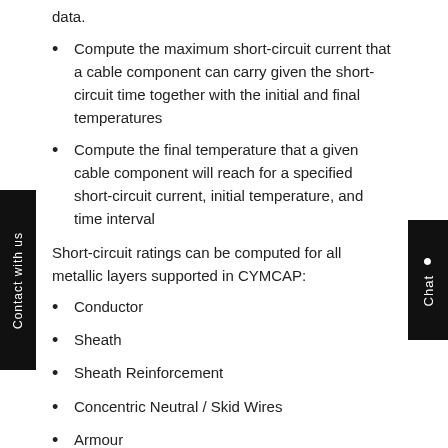data.
Compute the maximum short-circuit current that a cable component can carry given the short-circuit time together with the initial and final temperatures
Compute the final temperature that a given cable component will reach for a specified short-circuit current, initial temperature, and time interval
Short-circuit ratings can be computed for all metallic layers supported in CYMCAP:
Conductor
Sheath
Sheath Reinforcement
Concentric Neutral / Skid Wires
Armour